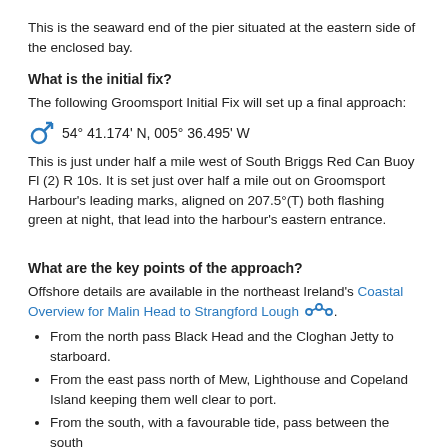This is the seaward end of the pier situated at the eastern side of the enclosed bay.
What is the initial fix?
The following Groomsport Initial Fix will set up a final approach:
54° 41.174' N, 005° 36.495' W
This is just under half a mile west of South Briggs Red Can Buoy Fl (2) R 10s. It is set just over half a mile out on Groomsport Harbour's leading marks, aligned on 207.5°(T) both flashing green at night, that lead into the harbour's eastern entrance.
What are the key points of the approach?
Offshore details are available in the northeast Ireland's Coastal Overview for Malin Head to Strangford Lough.
From the north pass Black Head and the Cloghan Jetty to starboard.
From the east pass north of Mew, Lighthouse and Copeland Island keeping them well clear to port.
From the south, with a favourable tide, pass between the south